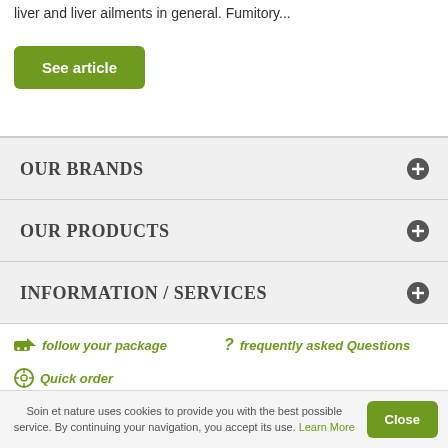liver and liver ailments in general. Fumitory...
See article
OUR BRANDS
OUR PRODUCTS
INFORMATION / SERVICES
follow your package
frequently asked Questions
Quick order
Soin et nature uses cookies to provide you with the best possible service. By continuing your navigation, you accept its use. Learn More